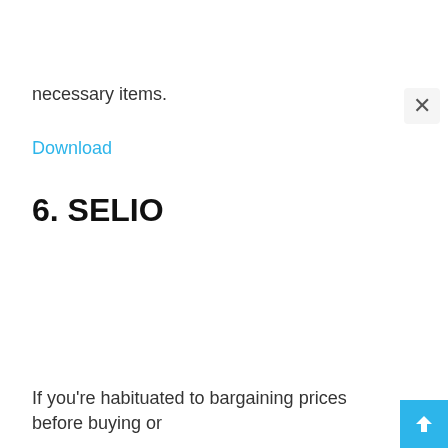necessary items.
Download
6. SELIO
If you're habituated to bargaining prices before buying or